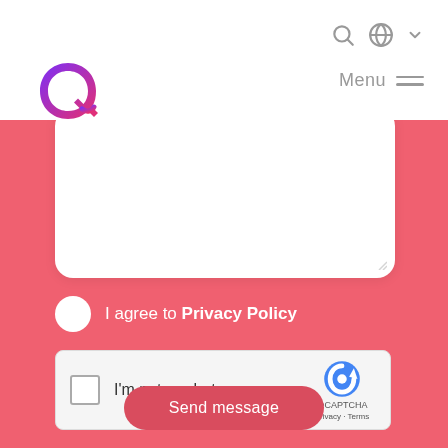[Figure (logo): Circular Q logo in purple-to-pink gradient, Reeva brand logo]
Menu
[Figure (screenshot): White rounded text area form field on pink background]
I agree to Privacy Policy
[Figure (screenshot): reCAPTCHA widget with checkbox and I'm not a robot text]
Send message